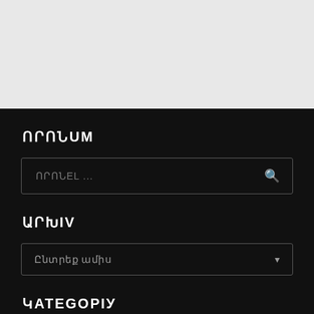[Figure (screenshot): Top gray banner area of a website sidebar]
ՈՐՈՆUM
ՈՐՈՆEL ...
ԱՐԽIV
Ընտրեք ամիս
ԿATEGОРIУ